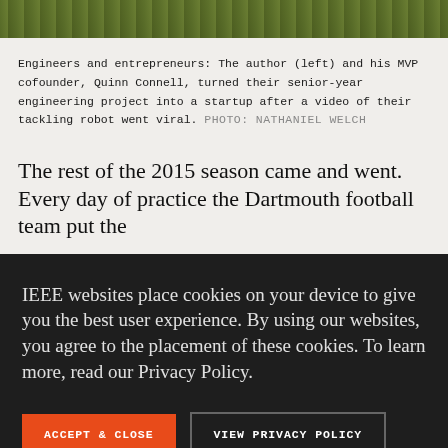[Figure (photo): Top strip of a grassy football field, dark green tones]
Engineers and entrepreneurs: The author (left) and his MVP cofounder, Quinn Connell, turned their senior-year engineering project into a startup after a video of their tackling robot went viral. PHOTO: NATHANIEL WELCH
The rest of the 2015 season came and went. Every day of practice the Dartmouth football team put the
IEEE websites place cookies on your device to give you the best user experience. By using our websites, you agree to the placement of these cookies. To learn more, read our Privacy Policy.
ACCEPT & CLOSE
VIEW PRIVACY POLICY